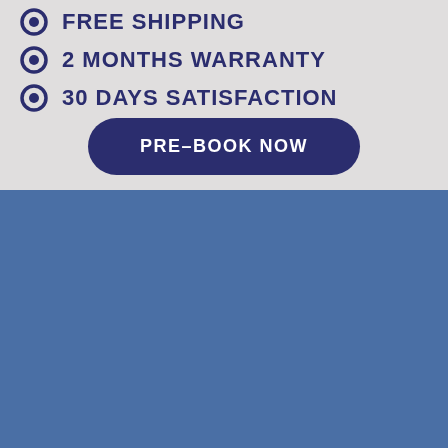FREE SHIPPING
2 MONTHS WARRANTY
30 DAYS SATISFACTION
PRE-BOOK NOW